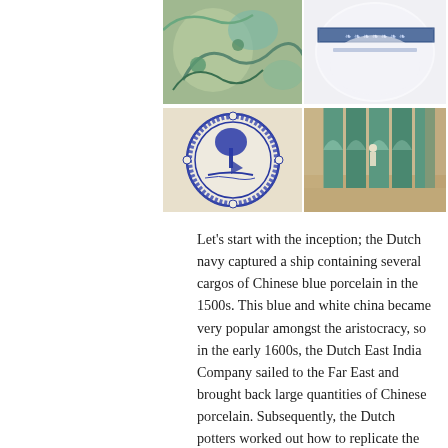[Figure (photo): A 2x2 grid of four photographs showing Delftware ceramics and tiles. Top-left: close-up of blue-green floral painted pottery. Top-right: white porcelain with dark blue decorative band/rim. Bottom-left: blue and white Delft plate depicting a tree and sailing boat scene. Bottom-right: interior architectural space with tall green-tinted decorative tile panels.]
Let's start with the inception; the Dutch navy captured a ship containing several cargos of Chinese blue porcelain in the 1500s. This blue and white china became very popular amongst the aristocracy, so in the early 1600s, the Dutch East India Company sailed to the Far East and brought back large quantities of Chinese porcelain. Subsequently, the Dutch potters worked out how to replicate the